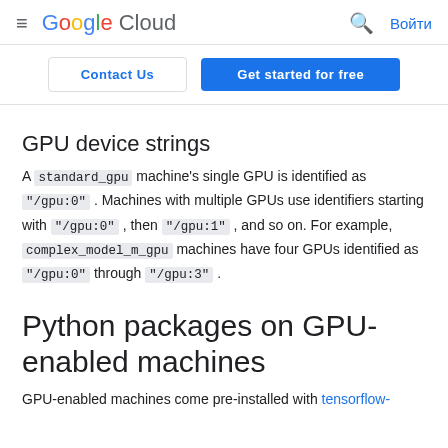Google Cloud — Войти
Contact Us | Get started for free
GPU device strings
A standard_gpu machine's single GPU is identified as "/gpu:0". Machines with multiple GPUs use identifiers starting with "/gpu:0", then "/gpu:1", and so on. For example, complex_model_m_gpu machines have four GPUs identified as "/gpu:0" through "/gpu:3".
Python packages on GPU-enabled machines
GPU-enabled machines come pre-installed with tensorflow-gpu, the TensorFlow Python package with GPU support.